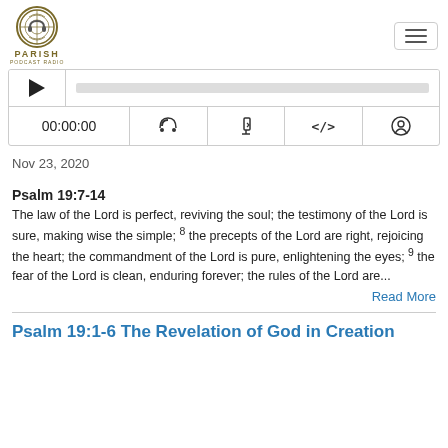PARISH — site navigation header with logo and hamburger menu
[Figure (screenshot): Audio player widget with play button, progress bar, time display (00:00:00), and media control icons (RSS, download, embed, share)]
Nov 23, 2020
Psalm 19:7-14
The law of the Lord is perfect, reviving the soul; the testimony of the Lord is sure, making wise the simple; 8 the precepts of the Lord are right, rejoicing the heart; the commandment of the Lord is pure, enlightening the eyes; 9 the fear of the Lord is clean, enduring forever; the rules of the Lord are...
Read More
Psalm 19:1-6 The Revelation of God in Creation